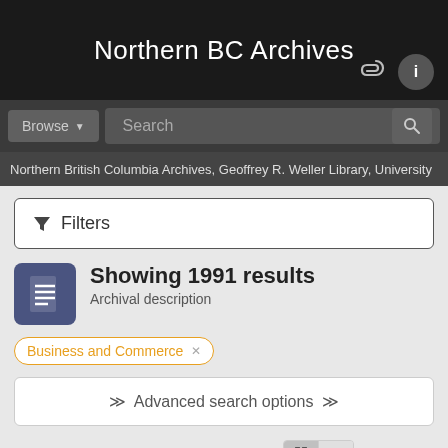Northern BC Archives
Northern British Columbia Archives, Geoffrey R. Weller Library, University
Filters
Showing 1991 results
Archival description
Business and Commerce ×
Advanced search options
Print preview  Hierarchy  View:  Sort by: Date modified ▾  Direction: Ascending ▾